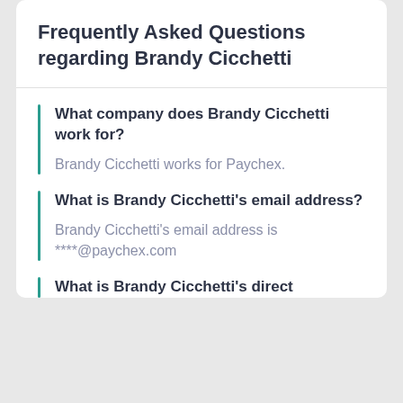Frequently Asked Questions regarding Brandy Cicchetti
What company does Brandy Cicchetti work for?
Brandy Cicchetti works for Paychex.
What is Brandy Cicchetti's email address?
Brandy Cicchetti's email address is ****@paychex.com
What is Brandy Cicchetti's direct